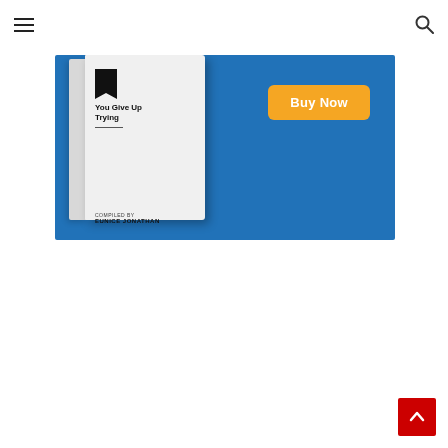Navigation menu and search icon
[Figure (illustration): Book advertisement banner with a 3D book cover showing title text 'You Give Up Trying', compiled by Eunice Jonathan, on a blue background with an orange 'Buy Now' button]
[Figure (other): Red scroll-to-top button with white upward chevron arrow in bottom-right corner]